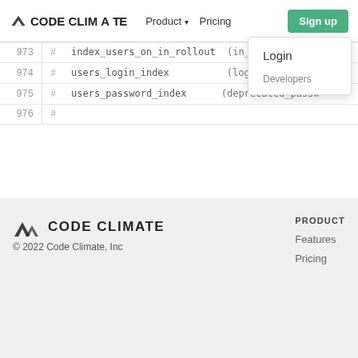CODE CLIMATE | Product ▾ | Pricing | Sign up
Login
Developers
973  #  index_users_on_in_rollout  (in_rollout)
974  #  users_login_index  (login) UNIQUE
975  #  users_password_index  (deprecated_passw...
976  #
CODE CLIMATE
© 2022 Code Climate, Inc
PRODUCT
Features
Pricing